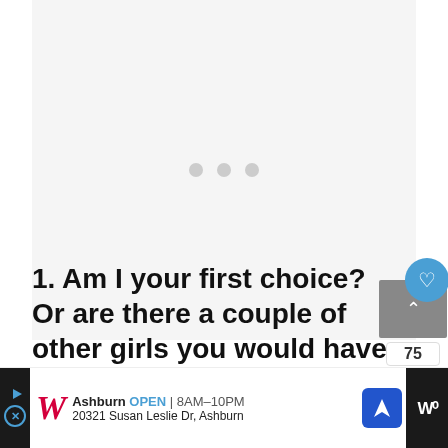[Figure (screenshot): Loading placeholder area with light gray background and three gray dots centered, indicating content is loading]
[Figure (other): UI overlay with blue circular like/heart button showing 75 count, gray expand box with up arrow, and white circular share button]
1. Am I your first choice? Or are there a couple of other girls you would have
[Figure (other): Advertisement bar for Walgreens pharmacy showing logo, Ashburn location, OPEN 8AM-10PM, address 20321 Susan Leslie Dr Ashburn, navigation icon, and dark strip on right with W logo]